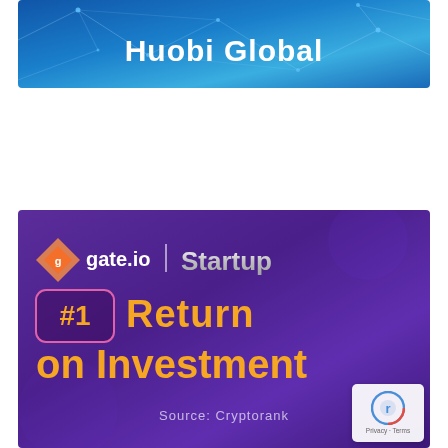[Figure (logo): Huobi Global banner with blue gradient background and network/constellation lines pattern, white bold text 'Huobi Global']
[Figure (infographic): Gate.io Startup promotional banner on purple gradient background. Shows gate.io logo and 'Startup' branding, '#1 Return on Investment' in orange/gold text with pink-bordered rank box, source credit 'Source: Cryptorank' at bottom. A reCAPTCHA privacy overlay appears in lower right corner.]